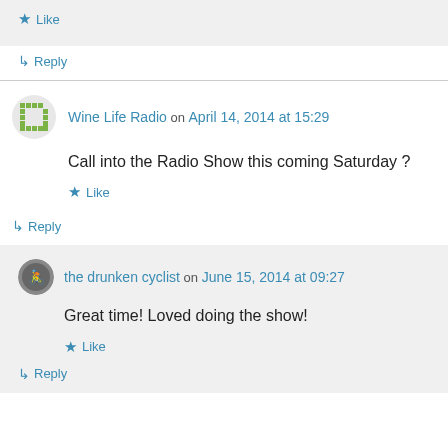Like
Reply
Wine Life Radio on April 14, 2014 at 15:29
Call into the Radio Show this coming Saturday ?
Like
Reply
the drunken cyclist on June 15, 2014 at 09:27
Great time! Loved doing the show!
Like
Reply